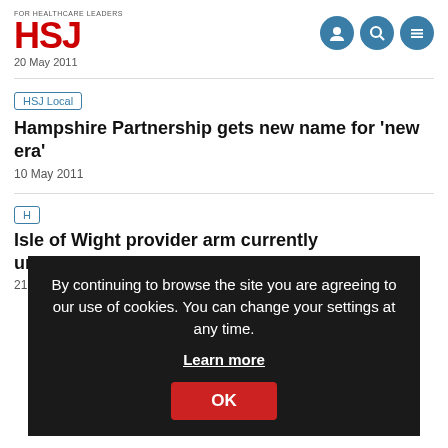HSJ - FOR HEALTHCARE LEADERS
20 May 2011
HSJ Local
Hampshire Partnership gets new name for 'new era'
10 May 2011
By continuing to browse the site you are agreeing to our use of cookies. You can change your settings at any time. Learn more
OK
H
Isle of Wight provider arm currently unsustainable
21 April 2011